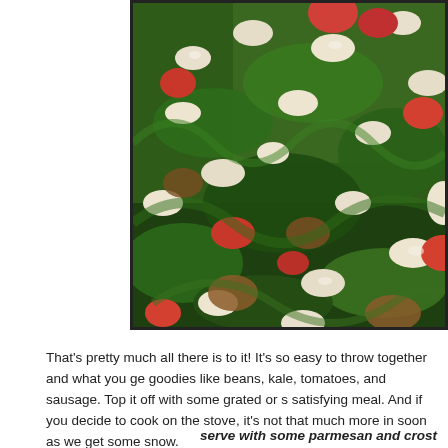[Figure (photo): Close-up photo of a dish containing white beans, dark green kale, red tomatoes, and ground sausage, filling the frame with rich colors and textures.]
That's pretty much all there is to it! It's so easy to throw together and what you ge goodies like beans, kale, tomatoes, and sausage. Top it off with some grated or s satisfying meal. And if you decide to cook on the stove, it's not that much more in soon as we get some snow.
serve with some parmesan and crost